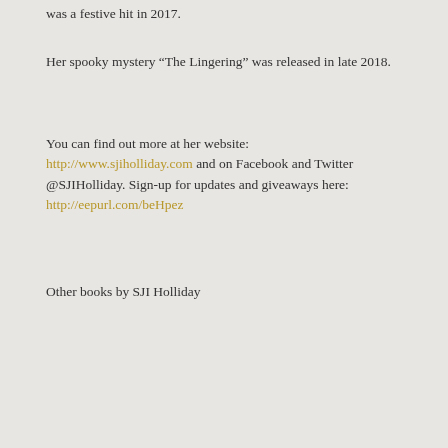was a festive hit in 2017.
Her spooky mystery “The Lingering” was released in late 2018.
You can find out more at her website: http://www.sjiholliday.com and on Facebook and Twitter @SJIHolliday. Sign-up for updates and giveaways here: http://eepurl.com/beHpez
Other books by SJI Holliday
[Figure (other): Author banner showing SJI Holliday profile photo and book covers for her published works including Landstruck, The Lingering, Violet, Cal O'Brien, Deaths of December, Damsel Fly, and Willow Walk.]